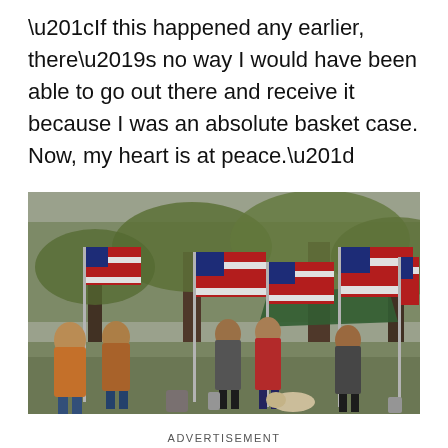“If this happened any earlier, there’s no way I would have been able to go out there and receive it because I was an absolute basket case. Now, my heart is at peace.”
[Figure (photo): Outdoor scene with multiple American flags on poles, crowds of people gathered among trees, possibly at a memorial or patriotic ceremony.]
ADVERTISEMENT